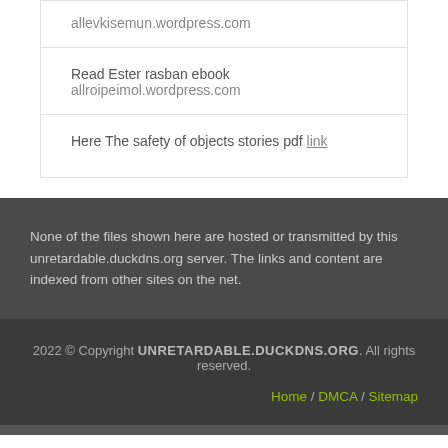allevkisemun.wordpress.com
Read Ester rasban ebook allroipeimol.wordpress.com
Here The safety of objects stories pdf link
None of the files shown here are hosted or transmitted by this unretardable.duckdns.org server. The links and content are indexed from other sites on the net.
2022 © Copyright UNRETARDABLE.DUCKDNS.ORG. All rights reserved.
Home / DMCA / Sitemap